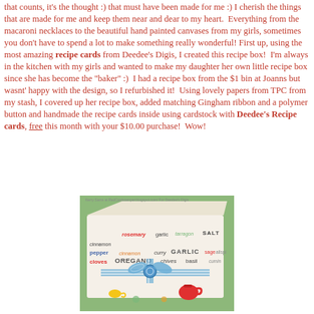that counts, it's the thought :) that must have been made for me :) I cherish the things that are made for me and keep them near and dear to my heart. Everything from the macaroni necklaces to the beautiful hand painted canvases from my girls, sometimes you don't have to spend a lot to make something really wonderful! First up, using the most amazing recipe cards from Deedee's Digis, I created this recipe box! I'm always in the kitchen with my girls and wanted to make my daughter her own little recipe box since she has become the "baker" :) I had a recipe box from the $1 bin at Joanns but wasnt' happy with the design, so I refurbished it! Using lovely papers from TPC from my stash, I covered up her recipe box, added matching Gingham ribbon and a polymer button and handmade the recipe cards inside using cardstock with Deedee's Recipe cards, free this month with your $10.00 purchase! Wow!
[Figure (photo): Photo of a handmade recipe box decorated with herb/spice names (rosemary, garlic, tarragon, SALT, cinnamon, pepper, cinnamon, curry, GARLIC, sage, allspice, cloves, OREGANO, chives, basil) and tied with a blue gingham ribbon with a button. Photo credit: Kerry Sams at RedCardstamper.blogspot.com/ For Deedee's Digis]